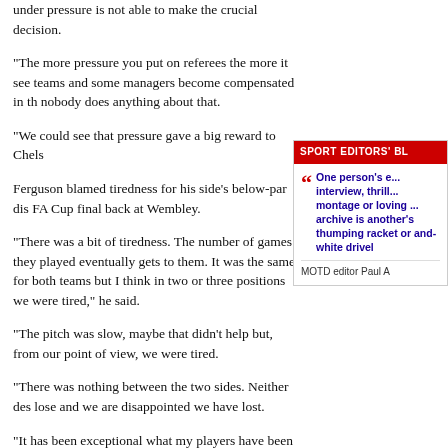under pressure is not able to make the crucial decision.
"The more pressure you put on referees the more it see teams and some managers become compensated in th nobody does anything about that.
"We could see that pressure gave a big reward to Chels
Ferguson blamed tiredness for his side's below-par dis FA Cup final back at Wembley.
"There was a bit of tiredness. The number of games they played eventually gets to them. It was the same for both teams but I think in two or three positions we were tired," he said.
[Figure (other): Sport Editors' Blog sidebar with red header and blue quote text: 'One person's e... interview, thrill... montage or loving ... archive is another's thumping racket or and-white drivel' attributed to MOTD editor Paul A]
"The pitch was slow, maybe that didn't help but, from our point of view, we were tired.
"There was nothing between the two sides. Neither des lose and we are disappointed we have lost.
"It has been exceptional what my players have been th couldn't cross the line."
Giggs added: "We played well. It was two very good tea probably edged it with possession and chances."